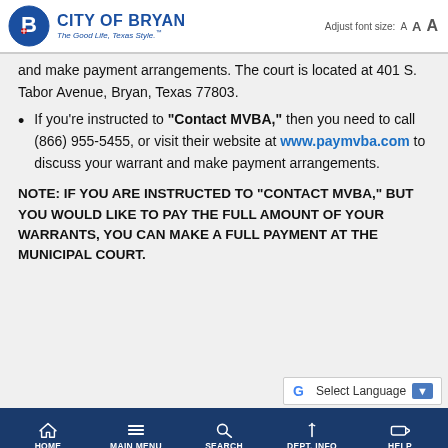City of Bryan — The Good Life, Texas Style. | Adjust font size: A A A
and make payment arrangements. The court is located at 401 S. Tabor Avenue, Bryan, Texas 77803.
If you're instructed to "Contact MVBA," then you need to call (866) 955-5455, or visit their website at www.paymvba.com to discuss your warrant and make payment arrangements.
NOTE: IF YOU ARE INSTRUCTED TO "CONTACT MVBA," BUT YOU WOULD LIKE TO PAY THE FULL AMOUNT OF YOUR WARRANTS, YOU CAN MAKE A FULL PAYMENT AT THE MUNICIPAL COURT.
HOME | MAIN MENU | SEARCH | DEPT. INFO | HELP